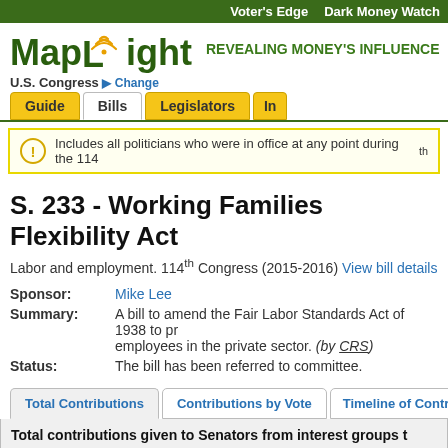Voter's Edge | Dark Money Watch
[Figure (logo): MapLight logo with wifi icon and tagline REVEALING MONEY'S INFLUENCE]
U.S. Congress ▶ Change
Guide | Bills | Legislators | In...
Includes all politicians who were in office at any point during the 114th
S. 233 - Working Families Flexibility Act
Labor and employment. 114th Congress (2015-2016) View bill details
Sponsor: Mike Lee
Summary: A bill to amend the Fair Labor Standards Act of 1938 to pr... employees in the private sector. (by CRS)
Status: The bill has been referred to committee.
Total Contributions | Contributions by Vote | Timeline of Contrib...
Total contributions given to Senators from interest groups t